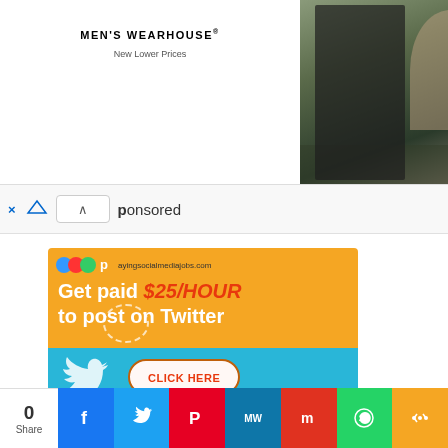[Figure (photo): Men's Wearhouse advertisement banner with couple in formal wear and man in suit]
MEN'S WEARHOUSE® New Lower Prices
× ▷ ∧ Sponsored
[Figure (infographic): Social media jobs advertisement: logo for payingsocialmediajobs.com, text 'Get paid $25/HOUR to post on Twitter', blue Twitter bird section with CLICK HERE button]
0 Share
[Figure (infographic): Social share bar with Facebook, Twitter, Pinterest, MW, Mixcloud, WhatsApp, and more buttons]